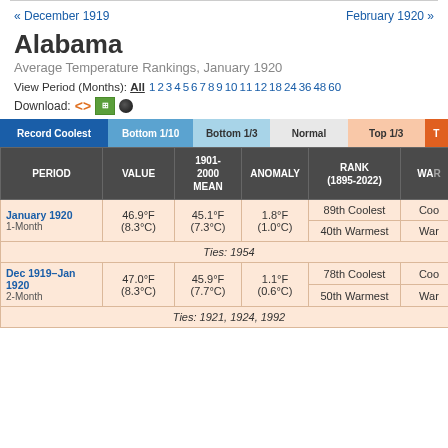« December 1919    February 1920 »
Alabama
Average Temperature Rankings, January 1920
View Period (Months): All 1 2 3 4 5 6 7 8 9 10 11 12 18 24 36 48 60
Download:
| PERIOD | VALUE | 1901-2000 MEAN | ANOMALY | RANK (1895-2022) | WAR |
| --- | --- | --- | --- | --- | --- |
| January 1920 1-Month | 46.9°F (8.3°C) | 45.1°F (7.3°C) | 1.8°F (1.0°C) | 89th Coolest / 40th Warmest | Coo / War |
| Ties: 1954 |  |  |  |  |  |
| Dec 1919–Jan 1920 2-Month | 47.0°F (8.3°C) | 45.9°F (7.7°C) | 1.1°F (0.6°C) | 78th Coolest / 50th Warmest | Coo / War |
| Ties: 1921, 1924, 1992 |  |  |  |  |  |